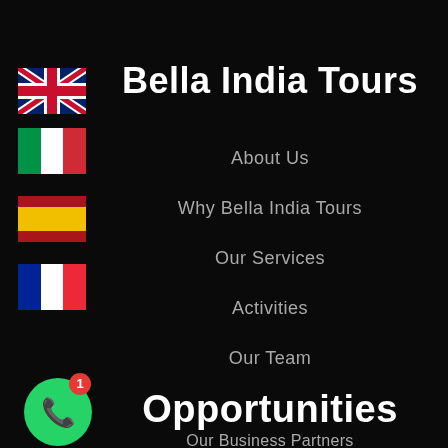[Figure (illustration): UK flag emoji - Union Jack]
[Figure (illustration): Italian flag emoji - green, white, red vertical stripes]
[Figure (illustration): Spanish flag emoji - red and yellow horizontal stripes]
[Figure (illustration): French flag emoji - blue, white, red vertical stripes]
Bella India Tours
About Us
Why Bella India Tours
Our Services
Activities
Our Team
Opportunities
Our Business Partners
[Figure (illustration): WhatsApp icon button with green circle background and notification badge showing 1]